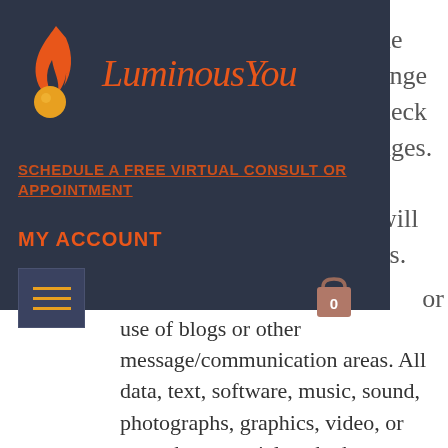[Figure (logo): Luminous You logo with flame and orange orb icon, orange script text]
SCHEDULE A FREE VIRTUAL CONSULT OR APPOINTMENT
MY ACCOUNT
[Figure (other): Hamburger menu icon with orange lines on dark background]
[Figure (other): Shopping cart icon with number 0]
the range heck nges. e will es.
or use of blogs or other message/communication areas. All data, text, software, music, sound, photographs, graphics, video, or any other materials, whether publicly posted or privately transmitted to Luminous You or the Site, shall be referred to as the “Content.” The submitti